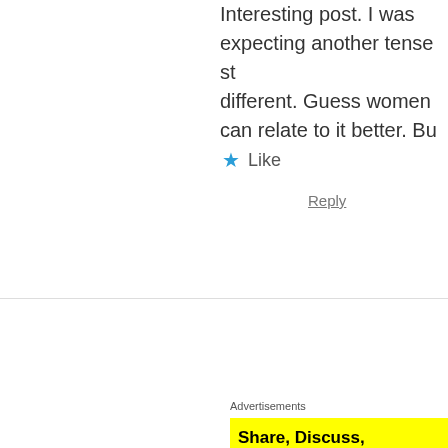Interesting post. I was expecting another tense st different. Guess women can relate to it better. Bu
★ Like
Reply
Advertisements
[Figure (screenshot): Yellow advertisement banner with bold text 'Share, Discuss, Collaborate P2' and 'Powe' text on right]
Bedlam says:
June 5, 2010 at 7:49 PM
Privacy & Cookies: This site uses cookies. By continuing to use this website, you agree to their use.
To find out more, including how to control cookies, see here: Cookie Policy
Close and accept